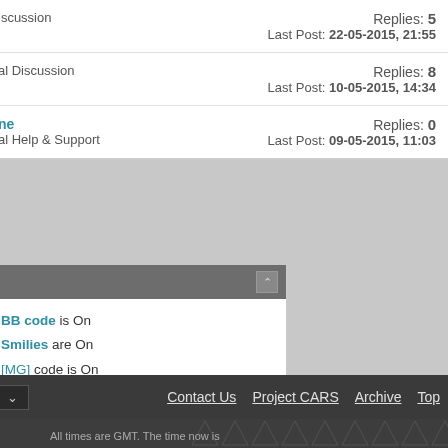Discussion — Replies: 5, Last Post: 22-05-2015, 21:55
al Discussion — Replies: 8, Last Post: 10-05-2015, 14:34
ne / al Help & Support — Replies: 0, Last Post: 09-05-2015, 11:03
[BB code is On
[Smilies] are On
[IMG] code is On
[VIDEO] code is On
HTML code is Off
Forum Rules
Contact Us   Project CARS   Archive   Top
All times are GMT. The time now is
Powered by vBulletin® Version 4.2.5
Copyright © 2022 vBulletin Solutions Inc. All rights reserved.
Image resizer by SevenSkins